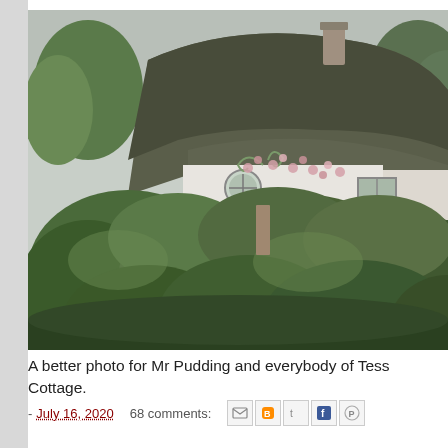[Figure (photo): A thatched-roof cottage with white walls, round window, climbing pink roses, and lush green bushes and hedges in the foreground. Trees visible in the background. Overcast sky.]
A better photo for Mr Pudding and everybody of Tess Cottage.
- July 16, 2020   68 comments: